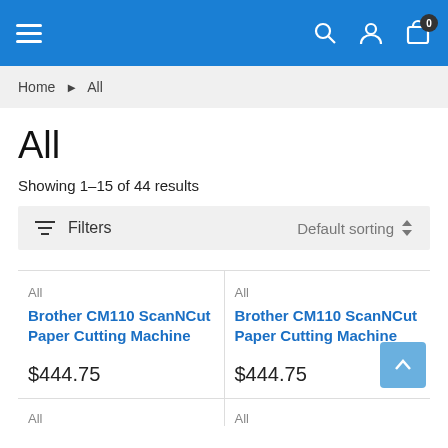Navigation bar with hamburger menu, search, user, and cart (0 items)
Home > All
All
Showing 1–15 of 44 results
Filters   Default sorting
All
Brother CM110 ScanNCut Paper Cutting Machine
$444.75
All
Brother CM110 ScanNCut Paper Cutting Machine
$444.75
All
All